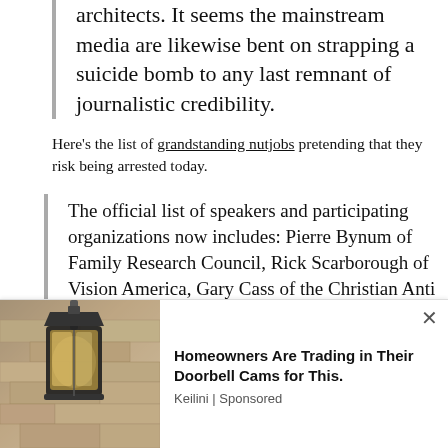architects. It seems the mainstream media are likewise bent on strapping a suicide bomb to any last remnant of journalistic credibility.
Here's the list of grandstanding nutjobs pretending that they risk being arrested today.
The official list of speakers and participating organizations now includes: Pierre Bynum of Family Research Council, Rick Scarborough of Vision America, Gary Cass of the Christian Anti Defamation Commission, Bishop Earl Jackson of STAND America, Paul Blair of Reclaiming Oklahoma for Christ, Steve Kern
[Figure (photo): Advertisement: Photo of outdoor wall lantern on stone wall, with ad text 'Homeowners Are Trading in Their Doorbell Cams for This.' sponsored by Keilini]